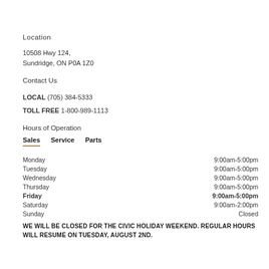Location
10508 Hwy 124,
Sundridge, ON P0A 1Z0
Contact Us
LOCAL (705) 384-5333
TOLL FREE 1-800-989-1113
Hours of Operation
Sales   Service   Parts
| Day | Hours |
| --- | --- |
| Monday | 9:00am-5:00pm |
| Tuesday | 9:00am-5:00pm |
| Wednesday | 9:00am-5:00pm |
| Thursday | 9:00am-5:00pm |
| Friday | 9:00am-5:00pm |
| Saturday | 9:00am-2:00pm |
| Sunday | Closed |
WE WILL BE CLOSED FOR THE CIVIC HOLIDAY WEEKEND. REGULAR HOURS WILL RESUME ON TUESDAY, AUGUST 2ND.